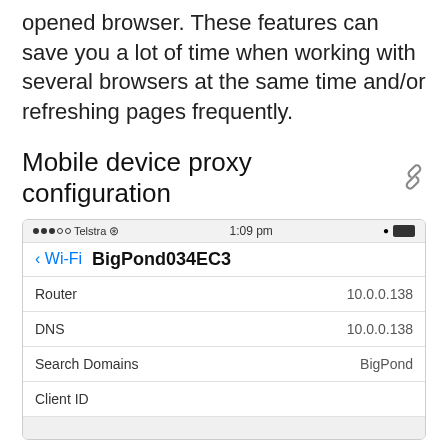opened browser. These features can save you a lot of time when working with several browsers at the same time and/or refreshing pages frequently.
Mobile device proxy configuration
[Figure (screenshot): iOS Wi-Fi settings screenshot showing BigPond034EC3 network with status bar (Telstra, 1:09 pm), Router 10.0.0.138, DNS 10.0.0.138, Search Domains BigPond, Client ID fields]